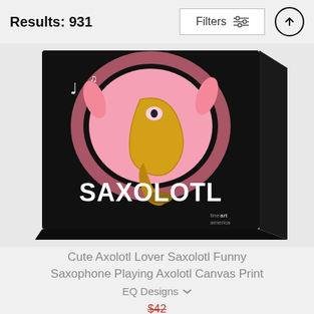Results: 931
[Figure (screenshot): Canvas print product image showing a cute axolotl playing a saxophone with the word SAXOLOTL in white bold text on a black background, with music notes. The image is angled showing the canvas depth. Fine Art America watermark visible.]
Cute Axolotl Lover Saxolotl Funny Saxophone Playing Axolotl Canvas Print
EQ Designs
$42
$34